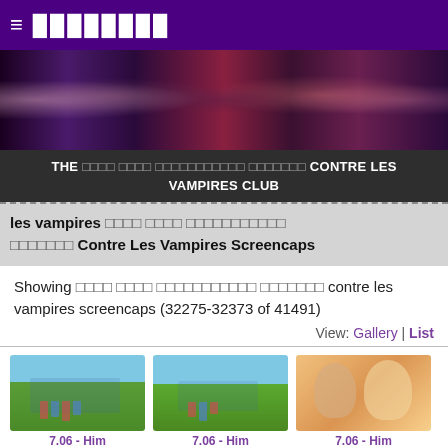≡ ████████
[Figure (photo): Banner image of TV show characters on dark purple/red background]
THE □□□□ □□□□ □□□□□□□□□□□ □□□□□□□ CONTRE LES VAMPIRES CLUB
les vampires □□□□ □□□□ □□□□□□□□□□□ □□□□□□□ Contre Les Vampires Screencaps
Showing □□□□ □□□□ □□□□□□□□□□□ □□□□□□□ contre les vampires screencaps (32275-32373 of 41491)
View: Gallery | List
[Figure (photo): Screencap thumbnail 1: outdoor scene, 7.06 - Him, submitted by xxxxsammyxxxx]
[Figure (photo): Screencap thumbnail 2: outdoor scene, 7.06 - Him, submitted by xxxxsammyxxxx]
[Figure (photo): Screencap thumbnail 3: close-up of two characters, 7.06 - Him, submitted by xxxxsammyxxxx]
[Figure (photo): Screencap thumbnail 4 (bottom row left): close-up character]
[Figure (photo): Screencap thumbnail 5 (bottom row center): close-up character]
[Figure (photo): Screencap thumbnail 6 (bottom row right): close-up character]